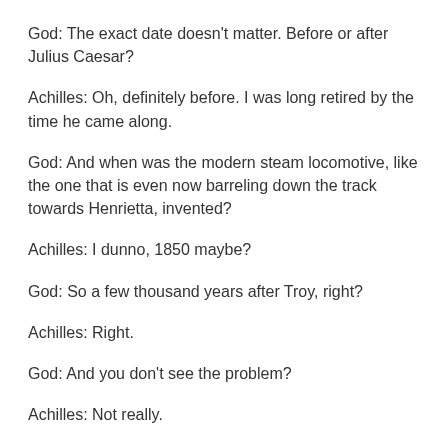God: The exact date doesn't matter.  Before or after Julius Caesar?
Achilles: Oh, definitely before.  I was long retired by the time he came along.
God: And when was the modern steam locomotive, like the one that is even now barreling down the track towards Henrietta, invented?
Achilles: I dunno, 1850 maybe?
God: So a few thousand years after Troy, right?
Achilles: Right.
God: And you don't see the problem?
Achilles: Not really.
God: You are several thousand years old.